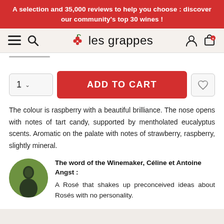A selection and 35,000 reviews to help you choose : discover our community's top 30 wines !
les grappes
ADD TO CART
The colour is raspberry with a beautiful brilliance. The nose opens with notes of tart candy, supported by mentholated eucalyptus scents. Aromatic on the palate with notes of strawberry, raspberry, slightly mineral.
The word of the Winemaker, Céline et Antoine Angst : A Rosé that shakes up preconceived ideas about Rosés with no personality.